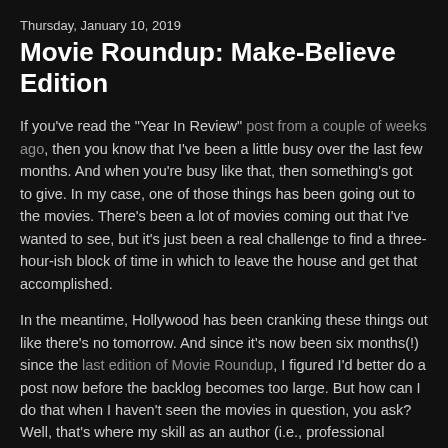Thursday, January 10, 2019
Movie Roundup: Make-Believe Edition
If you've read the "Year In Review" post from a couple of weeks ago, then you know that I've been a little busy over the last few months. And when you're busy like that, then something's got to give. In my case, one of those things has been going out to the movies. There's been a lot of movies coming out that I've wanted to see, but it's just been a real challenge to find a three-hour-ish block of time in which to leave the house and get that accomplished.
In the meantime, Hollywood has been cranking these things out like there's no tomorrow. And since it's now been six months(!) since the last edition of Movie Roundup, I figured I'd better do a post now before the backlog becomes too large. But how can I do that when I haven't seen the movies in question, you ask? Well, that's where my skill as an author (i.e., professional maker-up-of-things) comes in handy! I'll simply talk about these movies as if I'd seen them, and then when they come out on home video or streaming or cable